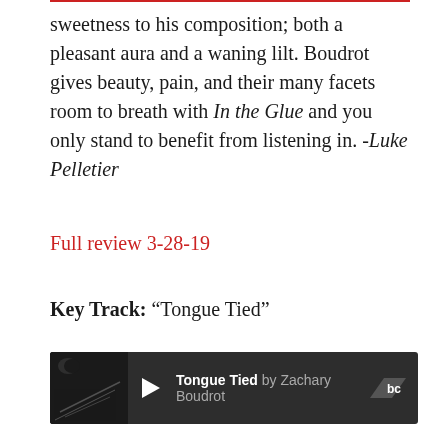sweetness to his composition; both a pleasant aura and a waning lilt. Boudrot gives beauty, pain, and their many facets room to breath with In the Glue and you only stand to benefit from listening in. -Luke Pelletier
Full review 3-28-19
Key Track: “Tongue Tied”
[Figure (screenshot): Bandcamp audio player bar showing album art thumbnail, play button, track title 'Tongue Tied by Zachary Boudrot', and Bandcamp logo]